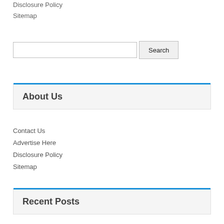Disclosure Policy
Sitemap
[Figure (screenshot): Search input box with Search button]
About Us
Contact Us
Advertise Here
Disclosure Policy
Sitemap
Recent Posts